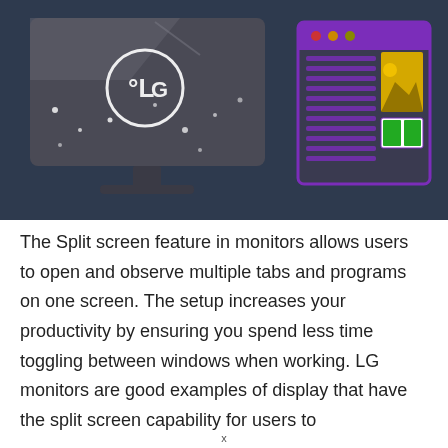[Figure (illustration): Illustration on a dark navy background showing an LG ultrawide curved monitor on the left with stars/dots on the screen and an LG logo, and on the right a purple-outlined browser/document window with colored content blocks (yellow image placeholder, green squares) representing split screen feature.]
The Split screen feature in monitors allows users to open and observe multiple tabs and programs on one screen. The setup increases your productivity by ensuring you spend less time toggling between windows when working. LG monitors are good examples of display that have the split screen capability for users to...
x